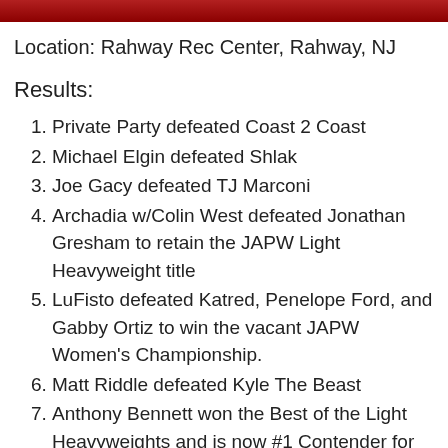Location: Rahway Rec Center, Rahway, NJ
Results:
Private Party defeated Coast 2 Coast
Michael Elgin defeated Shlak
Joe Gacy defeated TJ Marconi
Archadia w/Colin West defeated Jonathan Gresham to retain the JAPW Light Heavyweight title
LuFisto defeated Katred, Penelope Ford, and Gabby Ortiz to win the vacant JAPW Women's Championship.
Matt Riddle defeated Kyle The Beast
Anthony Bennett won the Best of the Light Heavyweights and is now #1 Contender for